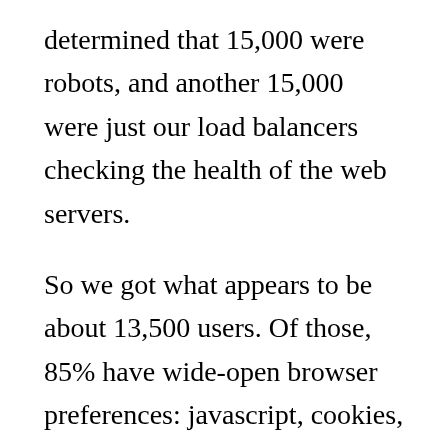determined that 15,000 were robots, and another 15,000 were just our load balancers checking the health of the web servers.
So we got what appears to be about 13,500 users. Of those, 85% have wide-open browser preferences: javascript, cookies, and 3rd party cookies.
About 10% seem to disable third-party cookies (this has implications for Omniture, too). Another 3.7 percent disable all cookies